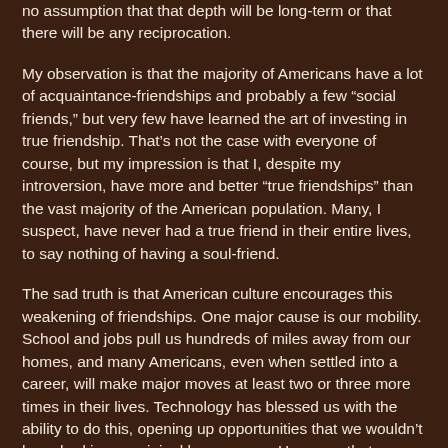no assumption that that depth will be long-term or that there will be any reciprocation.
My observation is that the majority of Americans have a lot of acquaintance-friendships and probably a few “social friends,” but very few have learned the art of investing in true friendship. That’s not the case with everyone of course, but my impression is that I, despite my introversion, have more and better “true friendships” than the vast majority of the American population. Many, I suspect, have never had a true friend in their entire lives, to say nothing of having a soul-friend.
The sad truth is that American culture encourages this weakening of friendships. One major cause is our mobility. School and jobs pull us hundreds of miles away from our homes, and many Americans, even when settled into a career, will make major moves at least two or three more times in their lives. Technology has blessed us with the ability to do this, opening up opportunities that we wouldn’t have had in our original home areas. However, that blessing does not come without a cost. For most Americans, the